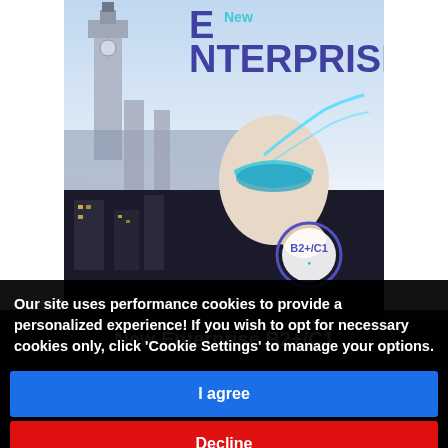[Figure (illustration): New Enterprise B2+/C1 textbook cover showing Big Ben, London cityscape, a person with futuristic visor/AR display, and a circular B2+/C1 badge. Title text 'New ENTERPRISE' in large purple letters.]
New Enterprise B2+/C1
Jenny Dooley
Our site uses performance cookies to provide a personalized experience! If you wish to opt for necessary cookies only, click 'Cookie Settings' to manage your options.
I agree
Decline